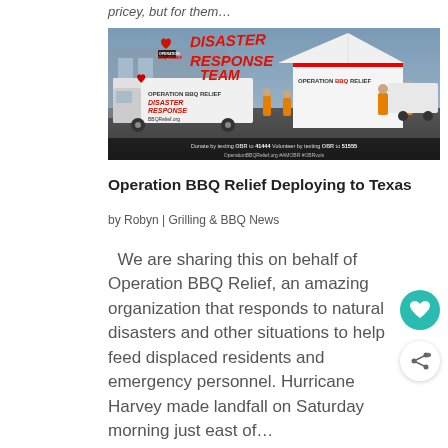pricey, but for them...
[Figure (photo): Operation BBQ Relief Disaster Response Team photo showing a truck with 'OPERATION BBQ RELIEF DISASTER RESPONSE' signage and a white tent with 'OPERATION BBQ RELIEF' branding, workers in orange vests visible. Text overlay: 'Donate by texting OBR to 41444. Volunteer by texting OBR to 51555. OperationBBQRelief.org #AMOBR #OBRvols']
Operation BBQ Relief Deploying to Texas
by Robyn | Grilling & BBQ News
We are sharing this on behalf of Operation BBQ Relief, an amazing organization that responds to natural disasters and other situations to help feed displaced residents and emergency personnel. Hurricane Harvey made landfall on Saturday morning just east of...